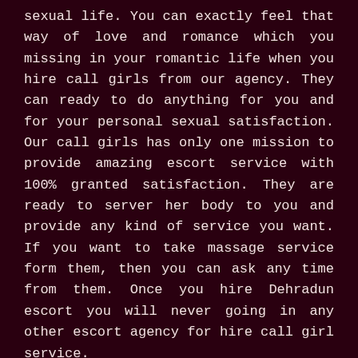sexual life. You can exactly feel that way of love and romance which you missing in your romantic life when you hire call girls from our agency. They can ready to do anything for you and for your personal sexual satisfaction. Our call girls has only one mission to provide amazing escort service with 100% granted satisfaction. They are ready to server her body to you and provide any kind of service you want. If you want to take massage service form them, then you can ask any time from them. Once you hire Dehradun escort you will never going in any other escort agency for hire call girl service.
Make your booking now: Dehradun escorts available 24*7
Now it would be a great chance for you guys for hire escorts in Dehradun through online or offline system.